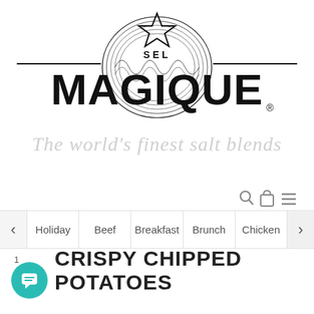[Figure (logo): Sel Magique logo with ornate badge design, star on top, and horizontal lines on either side, with registered trademark symbol]
The world's finest salt blends
[Figure (infographic): Navigation icons: search magnifier, shopping bag, hamburger menu]
Holiday
Beef
Breakfast
Brunch
Chicken
1
CRISPY CHIPPED POTATOES